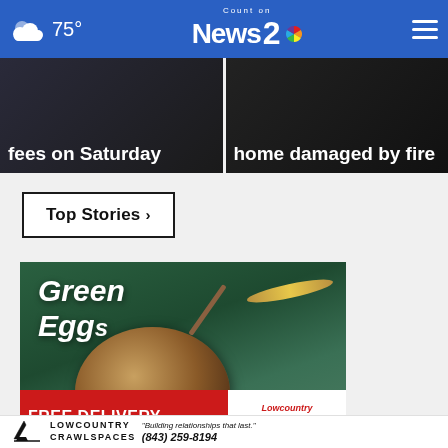75° Count on News 2
[Figure (screenshot): News thumbnail card showing partial headline: fees on Saturday]
[Figure (screenshot): News thumbnail card showing partial headline: home damaged by fire]
Top Stories ›
[Figure (photo): Green Egg restaurant sign with drum kit in foreground]
[Figure (infographic): Advertisement: FREE DELIVERY FOR JAMES ISLAND AND FOLLY BEACH - Lowcountry ACE with close button]
[Figure (logo): Lowcountry Crawlspaces ad: Building relationships that last. (843) 259-8194]